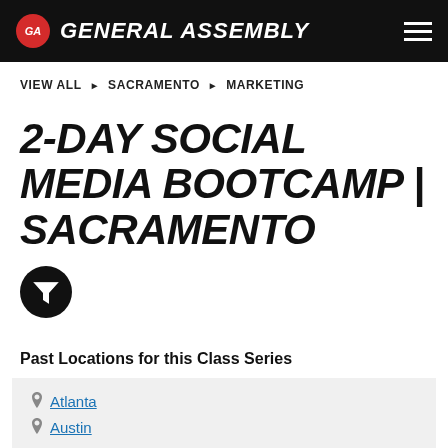GA GENERAL ASSEMBLY
VIEW ALL ▶ SACRAMENTO ▶ MARKETING
2-DAY SOCIAL MEDIA BOOTCAMP | SACRAMENTO
[Figure (other): Black circle with white funnel/filter icon]
Past Locations for this Class Series
Atlanta
Austin